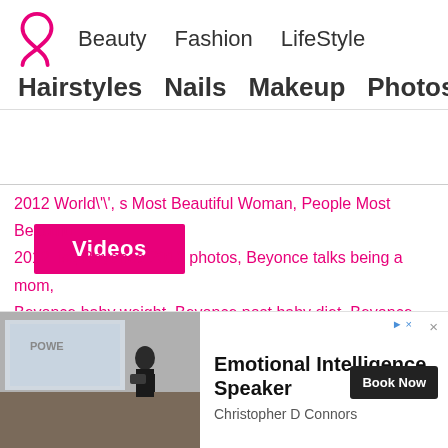Beauty  Fashion  LifeStyle  |  Hairstyles  Nails  Makeup  Photos
Videos
2012 World\'\', s Most Beautiful Woman, People Most Beautiful 2012 list, Beyonce 2012 photos, Beyonce talks being a mom, Beyonce baby weight, Beyonce post baby diet, Beyonce beauty secrets
Beyoncé has been named People's 2012 World's Most Beautiful Woman. In her exclusive interview with the magazine, the 30-year-old entertainer shares her beauty secrets and reveals how she lost baby weight and when she feels the most beautiful
[Figure (photo): Advertisement showing a man speaker on stage with a presentation screen, for Emotional Intelligence Speaker Christopher D Connors with Book Now button]